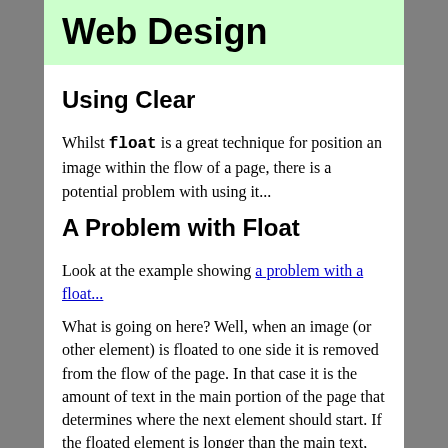Web Design
Using Clear
Whilst float is a great technique for position an image within the flow of a page, there is a potential problem with using it...
A Problem with Float
Look at the example showing a problem with a float...
What is going on here? Well, when an image (or other element) is floated to one side it is removed from the flow of the page. In that case it is the amount of text in the main portion of the page that determines where the next element should start. If the floated element is longer than the main text, this will overlap with the following elements. Sometimes this might be OK, but in the